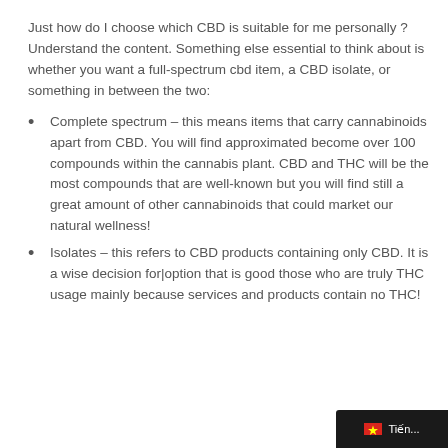Just how do I choose which CBD is suitable for me personally ? Understand the content. Something else essential to think about is whether you want a full-spectrum cbd item, a CBD isolate, or something in between the two:
Complete spectrum – this means items that carry cannabinoids apart from CBD. You will find approximated become over 100 compounds within the cannabis plant. CBD and THC will be the most compounds that are well-known but you will find still a great amount of other cannabinoids that could market our natural wellness!
Isolates – this refers to CBD products containing only CBD. It is a wise decision for|option that is good those who are truly THC usage mainly because services and products contain no THC!